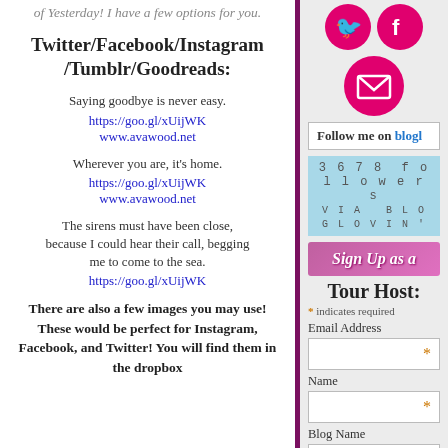of Yesterday! I have a few options for you.
Twitter/Facebook/Instagram/Tumblr/Goodreads:
Saying goodbye is never easy.
https://goo.gl/xUijWK
www.avawood.net
Wherever you are, it’s home.
https://goo.gl/xUijWK
www.avawood.net
The sirens must have been close, because I could hear their call, begging me to come to the sea.
https://goo.gl/xUijWK
There are also a few images you may use! These would be perfect for Instagram, Facebook, and Twitter! You will find them in the dropbox
[Figure (infographic): Social media icons: Twitter and Facebook pink circles, email pink circle]
Follow me on bloglovin'
3678 followers VIA BLOGLOVIN'
Sign Up as a
Tour Host:
* indicates required
Email Address
Name
Blog Name
Blog URL